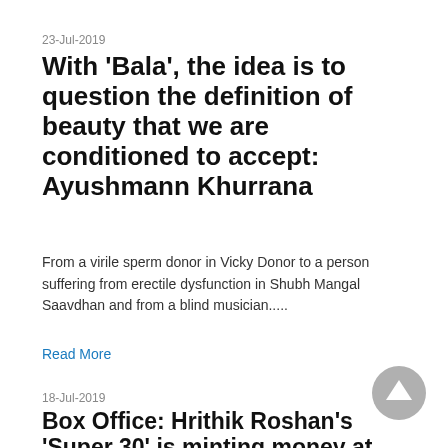23-Jul-2019
With 'Bala', the idea is to question the definition of beauty that we are conditioned to accept: Ayushmann Khurrana
From a virile sperm donor in Vicky Donor to a person suffering from erectile dysfunction in Shubh Mangal Saavdhan and from a blind musician.....
Read More
18-Jul-2019
Box Office: Hrithik Roshan's 'Super 30' is minting money at the theatres, Ayushmann